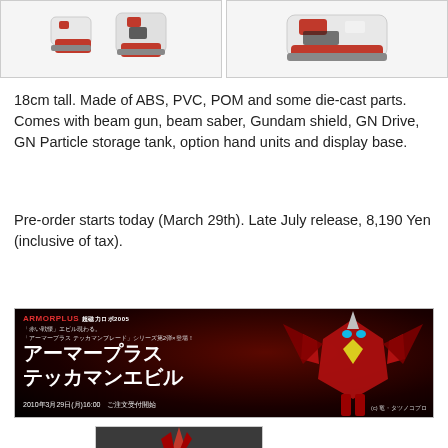[Figure (photo): Two product images of a Gundam action figure (red/white/black) shown from different angles, displayed side by side in bordered boxes]
18cm tall. Made of ABS, PVC, POM and some die-cast parts. Comes with beam gun, beam saber, Gundam shield, GN Drive, GN Particle storage tank, option hand units and display base.
Pre-order starts today (March 29th). Late July release, 8,190 Yen (inclusive of tax).
Armor Plus Tekkaman Evil
[Figure (photo): Armor Plus promotional banner for Tekkaman Evil (Tekkaman Blade series). Dark red/black background with Japanese text reading アーマープラス テッカマンエビル and date 2010年3月29日(月)16:00 ご注文受付開始. Shows red robotic figure on right side.]
[Figure (photo): Partial product image of Tekkaman Evil figure showing red spiky details on dark grey background]